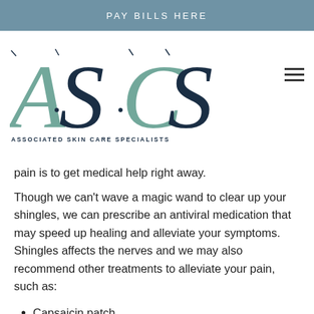PAY BILLS HERE
[Figure (logo): ASCS Associated Skin Care Specialists logo with large decorative letters and tagline]
pain is to get medical help right away.
Though we can't wave a magic wand to clear up your shingles, we can prescribe an antiviral medication that may speed up healing and alleviate your symptoms. Shingles affects the nerves and we may also recommend other treatments to alleviate your pain, such as:
Capsaicin patch
Lidocaine cream or patch